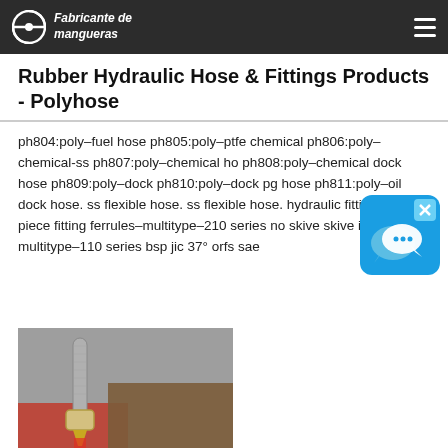Fabricante de mangueras
Rubber Hydraulic Hose & Fittings Products - Polyhose
ph804:poly–fuel hose ph805:poly–ptfe chemical ph806:poly–chemical-ss ph807:poly–chemical ho ph808:poly–chemical dock hose ph809:poly–dock ph810:poly–dock pg hose ph811:poly–oil dock hose. ss flexible hose. ss flexible hose. hydraulic fittings. two piece fitting ferrules–multitype–210 series no skive skive inserts–multitype–110 series bsp jic 37° orfs sae
[Figure (photo): Photo of a hydraulic hose connected to a fitting, with tools and red/grey surfaces visible in the background.]